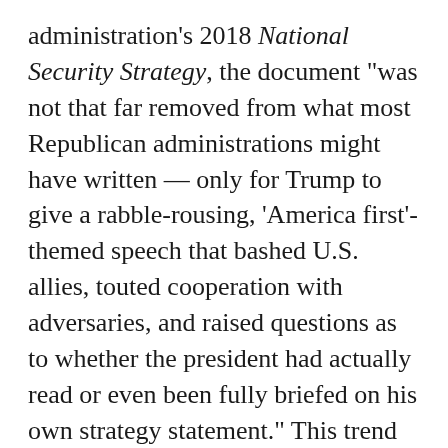administration's 2018 National Security Strategy, the document "was not that far removed from what most Republican administrations might have written — only for Trump to give a rabble-rousing, 'America first'-themed speech that bashed U.S. allies, touted cooperation with adversaries, and raised questions as to whether the president had actually read or even been fully briefed on his own strategy statement." This trend continues in the release of the Trump administration's Nuclear Posture Review, which, as James Steinberg observes below, possesses "an Alice in Wonderland" quality